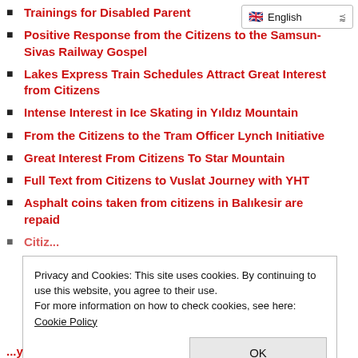English (language selector)
Trainings for Disabled Parent
Positive Response from the Citizens to the Samsun-Sivas Railway Gospel
Lakes Express Train Schedules Attract Great Interest from Citizens
Intense Interest in Ice Skating in Yıldız Mountain
From the Citizens to the Tram Officer Lynch Initiative
Great Interest From Citizens To Star Mountain
Full Text from Citizens to Vuslat Journey with YHT
Asphalt coins taken from citizens in Balıkesir are repaid
Privacy and Cookies: This site uses cookies. By continuing to use this website, you agree to their use.
For more information on how to check cookies, see here: Cookie Policy
OK